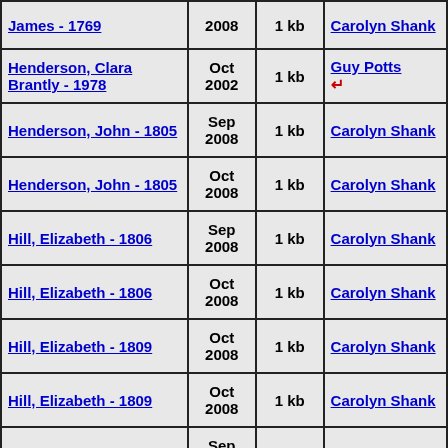| Name | Date | Size | Author |
| --- | --- | --- | --- |
| James - 1769 | 2008 | 1 kb | Carolyn Shank |
| Henderson, Clara Brantly - 1978 | Oct 2002 | 1 kb | Guy Potts ↵ |
| Henderson, John - 1805 | Sep 2008 | 1 kb | Carolyn Shank |
| Henderson, John - 1805 | Oct 2008 | 1 kb | Carolyn Shank |
| Hill, Elizabeth - 1806 | Sep 2008 | 1 kb | Carolyn Shank |
| Hill, Elizabeth - 1806 | Oct 2008 | 1 kb | Carolyn Shank |
| Hill, Elizabeth - 1809 | Oct 2008 | 1 kb | Carolyn Shank |
| Hill, Elizabeth - 1809 | Oct 2008 | 1 kb | Carolyn Shank |
| Hill, Jane - 1802 | Sep 2008 | 1 kb | Carolyn Shank |
| Hill, | ... | ... | Carol... |